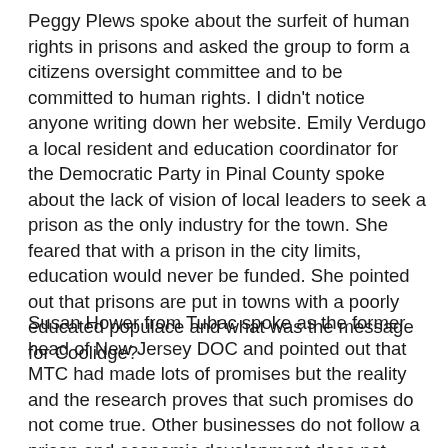Peggy Plews spoke about the surfeit of human rights in prisons and asked the group to form a citizens oversight committee and to be committed to human rights. I didn't notice anyone writing down her website. Emily Verdugo a local resident and education coordinator for the Democratic Party in Pinal County spoke about the lack of vision of local leaders to seek a prison as the only industry for the town. She feared that with a prison in the city limits, education would never be funded. She pointed out that prisons are put in towns with a poorly educated populace and what was the message for Coolidge?
Susan Hower from Tubac spoke as the former head of New Jersey DOC and pointed out that MTC had made lots of promises but the reality and the research proves that such promises do not come true. Other businesses do not follow a prison and economic development does not occur. Good jobs do not materialize as often other prisons are closed and those jobs are just moved. In Bullhead City, inmates from Kingman are replacing city workers and good jobs being lost. The work is tough and the turnover very high for the low pay and high stress. She pointed out that DOC had withheld